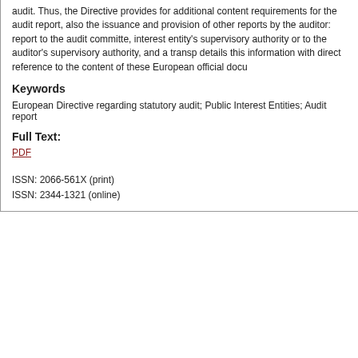audit. Thus, the Directive provides for additional content requirements for the audit report, also the issuance and provision of other reports by the auditor: report to the audit committee, interest entity's supervisory authority or to the auditor's supervisory authority, and a transparency report. details this information with direct reference to the content of these European official documents.
Keywords
European Directive regarding statutory audit; Public Interest Entities; Audit report
Full Text:
PDF
ISSN: 2066-561X (print)
ISSN: 2344-1321 (online)